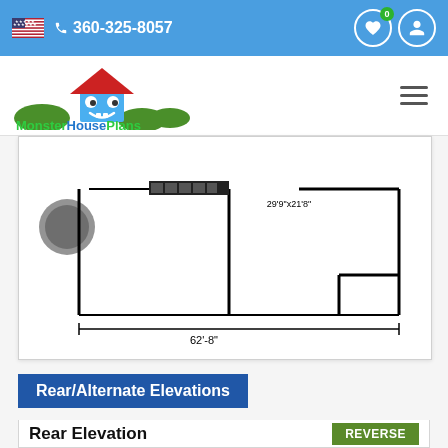360-325-8057
[Figure (logo): MonsterHousePlans logo with cartoon house icon and green hills]
[Figure (engineering-diagram): House floor plan diagram showing rear layout with dimensions 62'-8" width and 29'9"x21'8" room label]
Rear/Alternate Elevations
Rear Elevation